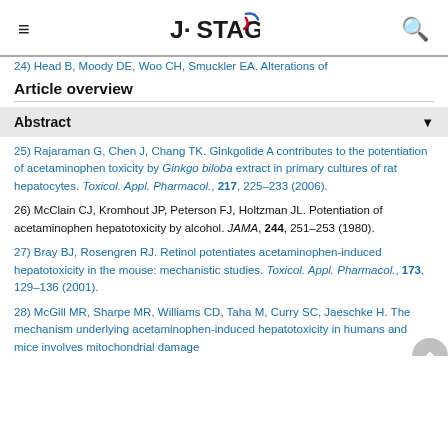J-STAGE
24) Head B, Moody DE, Woo CH, Smuckler EA. Alterations of
Article overview
Abstract ▼
25) Rajaraman G, Chen J, Chang TK. Ginkgolide A contributes to the potentiation of acetaminophen toxicity by Ginkgo biloba extract in primary cultures of rat hepatocytes. Toxicol. Appl. Pharmacol., 217, 225–233 (2006).
26) McClain CJ, Kromhout JP, Peterson FJ, Holtzman JL. Potentiation of acetaminophen hepatotoxicity by alcohol. JAMA, 244, 251–253 (1980).
27) Bray BJ, Rosengren RJ. Retinol potentiates acetaminophen-induced hepatotoxicity in the mouse: mechanistic studies. Toxicol. Appl. Pharmacol., 173, 129–136 (2001).
28) McGill MR, Sharpe MR, Williams CD, Taha M, Curry SC, Jaeschke H. The mechanism underlying acetaminophen-induced hepatotoxicity in humans and mice involves mitochondrial damage